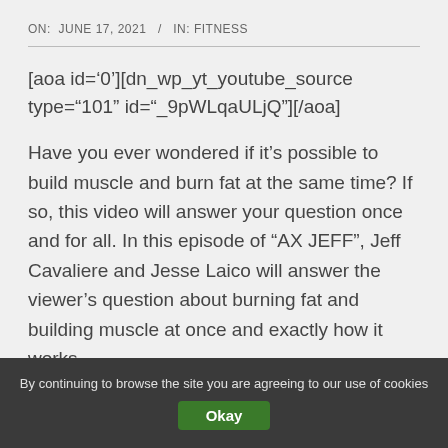ON: JUNE 17, 2021 / IN: FITNESS
[aoa id='0'][dn_wp_yt_youtube_source type="101" id="_9pWLqaULjQ"][/aoa]
Have you ever wondered if it’s possible to build muscle and burn fat at the same time? If so, this video will answer your question once and for all. In this episode of “AX JEFF”, Jeff Cavaliere and Jesse Laico will answer the viewer’s question about burning fat and building muscle at once and exactly how it works.
By continuing to browse the site you are agreeing to our use of cookies